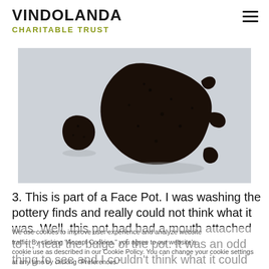VINDOLANDA CHARITABLE TRUST
[Figure (photo): Close-up photo of dark, irregular fragments of ancient pottery on a light grey/white background. The fragments appear black or very dark brown, textured and rough, shown against a plain surface.]
3. This is part of a Face Pot. I was washing the pottery finds and really could not think what it was. Well, this pot had had a mouth attached to it, near the bulge of the pot. It was an odd thing to see and I couldn't think what it could be. Someone said it might have been stuck
We use cookies to improve user experience and analyze website traffic. By clicking "Accept Cookies," you agree to our website's cookie use as described in our Cookie Policy. You can change your cookie settings at any time by clicking "Preferences."